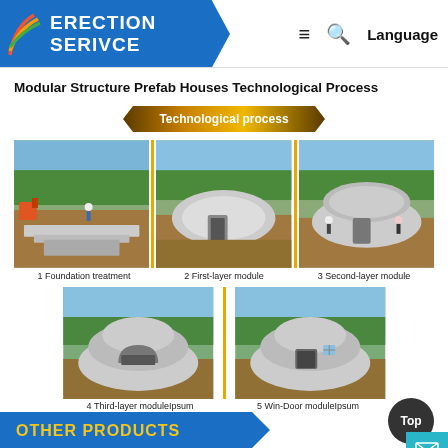ERECTION SERIVCE  ≡  🔍  Language
Modular Structure Prefab Houses Technological Process
[Figure (infographic): Technological process banner with gold/yellow hexagonal shape label reading 'Technological process']
[Figure (photo): Three-panel construction sequence: 1 Foundation treatment (concrete foundation laid in dirt), 2 First-layer module (dome modules placed on foundation), 3 Second-layer module (second layer of dome modules being assembled)]
1 Foundation treatment   2 First-layer module   3 Second-layer module
[Figure (photo): Two-panel construction sequence: 4 Third-layer moduleIpsum (completed dome structure with arched entrance), 5 Win-Door moduleIpsum (completed dome with door and window installed)]
4 Third-layer moduleIpsum   5 Win-Door moduleIpsum
OTHER PRODUCTS